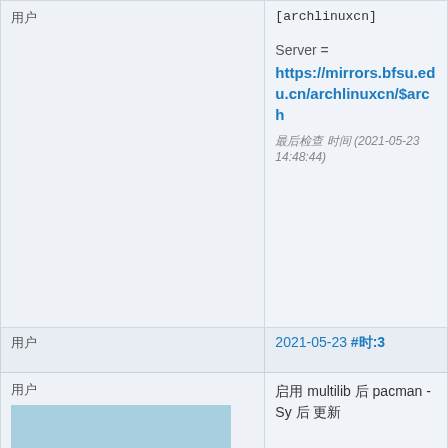[archlinuxcn]
Server = https://mirrors.bfsu.edu.cn/archlinuxcn/$arch
最后检查 时间 (2021-05-23 14:48:44)
用户
用户
2021-05-23 #时:3
用户
启用 multilib 后 pacman -Sy 后 更新
[Figure (photo): A red fox resting with eyes closed on snow, close-up photo]